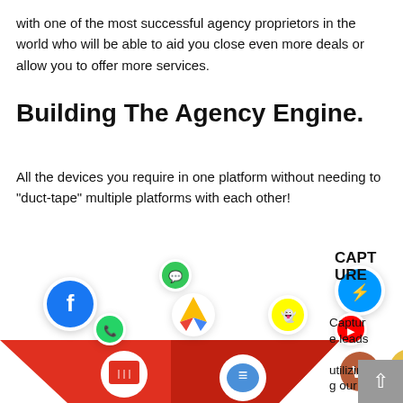with one of the most successful agency proprietors in the world who will be able to aid you close even more deals or allow you to offer more services.
Building The Agency Engine.
All the devices you require in one platform without needing to "duct-tape" multiple platforms with each other!
[Figure (infographic): A marketing funnel diagram showing various platform logos (Facebook, Messenger, Google Ads, Snapchat, YouTube, WhatsApp, SMS, and others) flowing into a red funnel. Inside the funnel are icons for various tools. To the right of the funnel is the label CAPTURE with text 'Capture leads utilizing our' below it.]